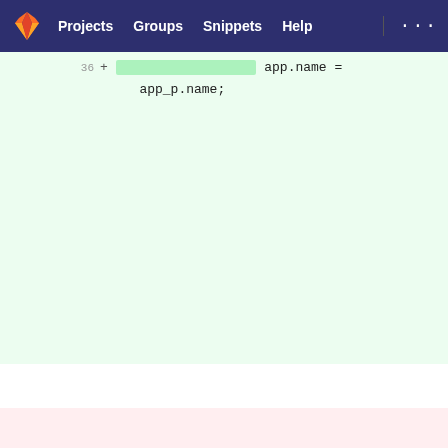GitLab — Projects  Groups  Snippets  Help  ...
[Figure (screenshot): Code diff view showing lines 36-45 of a C++ source file, with added lines (green) showing app property assignments and removed lines (pink) showing a void function signature for ApplicationManager::scanForApplications]
36 + [highlight] app.name = app_p.name;
37 + [highlight] app.icon = app_p.icon;
38 + [highlight] app.id = quintptr(&app_p);
39 + [highlight] app.key = QFileInfo(app_p.executableFileName).baseName();
40 + [highlight] result.push_back(app);
41 + [highlight] }
42 + [highlight] return result;
42 43     }
43 44     
44 - void ApplicationManager::scanForApplications(const QString &appsDirPath,
45 -
    const QString